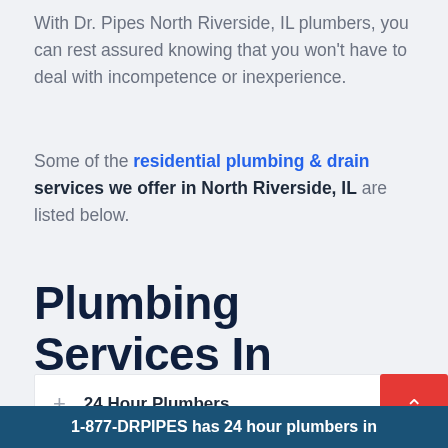With Dr. Pipes North Riverside, IL plumbers, you can rest assured knowing that you won't have to deal with incompetence or inexperience.
Some of the residential plumbing & drain services we offer in North Riverside, IL are listed below.
Plumbing Services In North Riverside
+ 24 Hour Plumbers
1-877-DRPIPES has 24 hour plumbers in